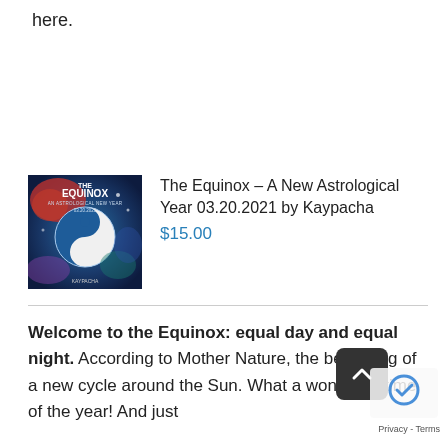here.
[Figure (illustration): Book cover for 'The Equinox – An Astrological New Year 03.20.2021' with colorful yin-yang design on blue background]
The Equinox – A New Astrological Year 03.20.2021 by Kaypacha
$15.00
Welcome to the Equinox: equal day and equal night. According to Mother Nature, the beginning of a new cycle around the Sun. What a wonderful time of the year! And just